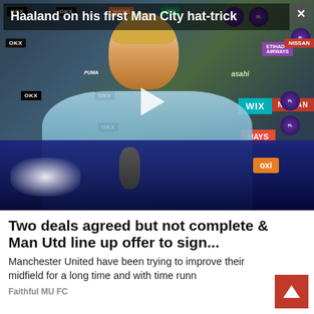[Figure (screenshot): Video player showing Erling Haaland post-match interview at a press conference backdrop with sponsor logos (OKX, HAYS, NISSAN, WIX, Etihad, Premier League badges). Video caption reads 'Haaland on his first Man City hat-trick'. A play button is visible in the center. A close (X) button is in the top right corner.]
Two deals agreed but not complete & Man Utd line up offer to sign...
Manchester United have been trying to improve their midfield for a long time and with time runn
Faithful MU FC